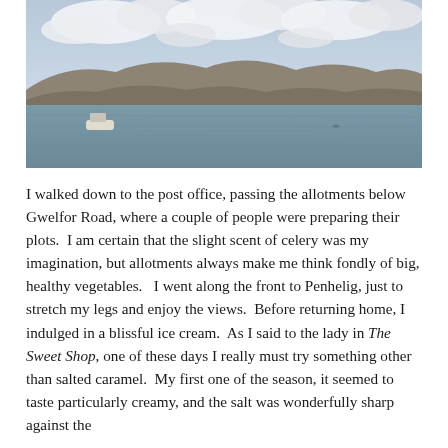[Figure (photo): Landscape photo of a bay or estuary with calm grey-green water, a small white fishing boat in the middle distance, rolling hills or mountains in the background, and a cloudy sky above.]
I walked down to the post office, passing the allotments below Gwelfor Road, where a couple of people were preparing their plots.  I am certain that the slight scent of celery was my imagination, but allotments always make me think fondly of big, healthy vegetables.   I went along the front to Penhelig, just to stretch my legs and enjoy the views.  Before returning home, I indulged in a blissful ice cream.  As I said to the lady in The Sweet Shop, one of these days I really must try something other than salted caramel.  My first one of the season, it seemed to taste particularly creamy, and the salt was wonderfully sharp against the